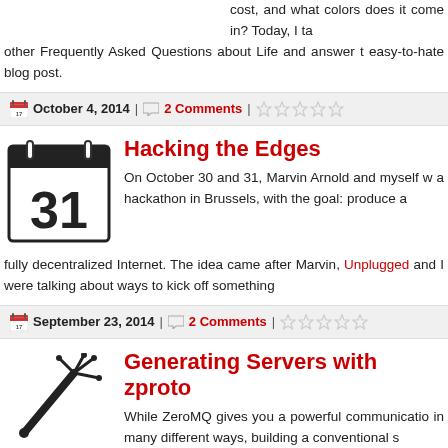cost, and what colors does it come in? Today, I ta other Frequently Asked Questions about Life and answer t easy-to-hate blog post.
October 4, 2014 | 2 Comments |
Hacking the Edges
On October 30 and 31, Marvin Arnold and myself w a hackathon in Brussels, with the goal: produce a fully decentralized Internet. The idea came after Marvin, Unplugged and I were talking about ways to kick off something
September 23, 2014 | 2 Comments |
Generating Servers with zproto
While ZeroMQ gives you a powerful communicatio in many different ways, building a conventional s solid work. We use the ROUTER socket for that, managing t individual client connection. Today I'll present a new tool -